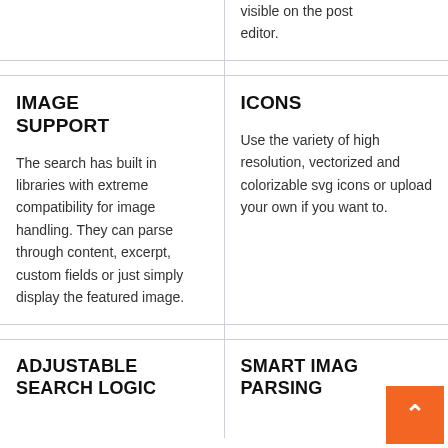visible on the post editor.
IMAGE SUPPORT
The search has built in libraries with extreme compatibility for image handling. They can parse through content, excerpt, custom fields or just simply display the featured image.
ICONS
Use the variety of high resolution, vectorized and colorizable svg icons or upload your own if you want to.
ADJUSTABLE SEARCH LOGIC
SMART IMAGE PARSING